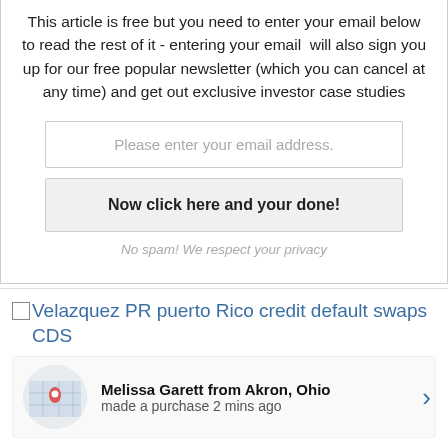This article is free but you need to enter your email below to read the rest of it - entering your email will also sign you up for our free popular newsletter (which you can cancel at any time) and get out exclusive investor case studies
Please enter your email address.
Now click here and your done!
No spam! We respect your privacy
Velazquez PR puerto Rico credit default swaps CDS
Melissa Garett from Akron, Ohio made a purchase 2 mins ago
As Puerto Rico Faces Dec. 1 Payment, "Vulture